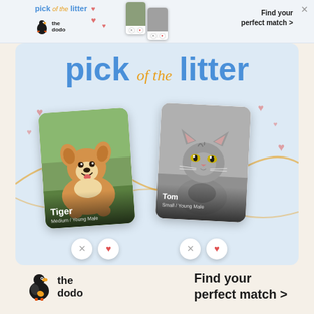[Figure (infographic): Top banner ad strip for 'The Dodo: Pick of the Litter' pet adoption app. Shows small phone mockups, logo with dodo bird, text 'pick of the litter', 'Find your perfect match >', and a close X button.]
[Figure (infographic): Main advertisement panel on light blue background for 'The Dodo: Pick of the Litter'. Title reads 'pick of the litter' in large blue/gold text. Shows two pet cards: a corgi named Tiger and a cat named Tom. Below the cards are swipe action buttons (X and heart icons). Bottom shows The Dodo logo and 'Find your perfect match >' call to action. Decorative hearts and gold squiggle lines in background.]